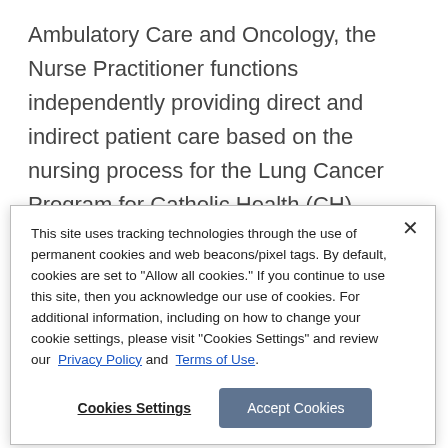Ambulatory Care and Oncology, the Nurse Practitioner functions independently providing direct and indirect patient care based on the nursing process for the Lung Cancer Program for Catholic Health (CH). Functions as the primary contact for patients. Provides education as needed to the patients/family related to the Lung Program
This site uses tracking technologies through the use of permanent cookies and web beacons/pixel tags. By default, cookies are set to "Allow all cookies." If you continue to use this site, then you acknowledge our use of cookies. For additional information, including on how to change your cookie settings, please visit "Cookies Settings" and review our Privacy Policy and Terms of Use.